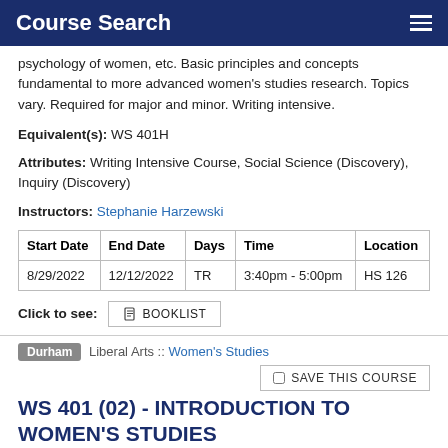Course Search
psychology of women, etc. Basic principles and concepts fundamental to more advanced women's studies research. Topics vary. Required for major and minor. Writing intensive.
Equivalent(s): WS 401H
Attributes: Writing Intensive Course, Social Science (Discovery), Inquiry (Discovery)
Instructors: Stephanie Harzewski
| Start Date | End Date | Days | Time | Location |
| --- | --- | --- | --- | --- |
| 8/29/2022 | 12/12/2022 | TR | 3:40pm - 5:00pm | HS 126 |
Click to see: BOOKLIST
Durham  Liberal Arts :: Women's Studies
SAVE THIS COURSE
WS 401 (02) - INTRODUCTION TO WOMEN'S STUDIES